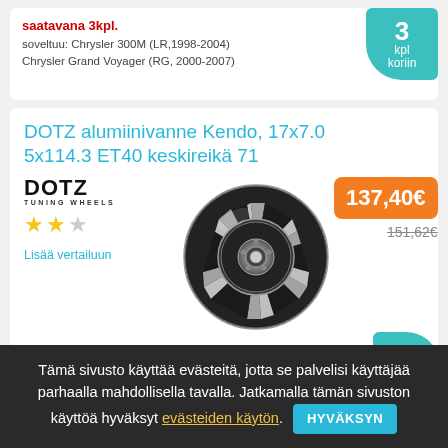saatavana 3kpl.
soveltuu: Chrysler 300M (LR,1998-2004) Chrysler Grand Voyager (RG, 2000-2007)
3 kpl koriin
DOTZ alumiinivanne Kendo, 17x7.0 5x114.3 ET40 keskireikä 71
[Figure (photo): DOTZ Tuning Wheels logo, 2 filled star ratings out of 3, a black and silver alloy wheel (Kendo model), price badge 137,40€, old price 151,62€, Lisää vertailuun link]
soveltuu: Chrysler Sebring II (JS, 2007.06-2010) Citroen C4 Aircross
4 kpl
Tämä sivusto käyttää evästeitä, jotta se palvelisi käyttäjää parhaalla mahdollisella tavalla. Jatkamalla tämän sivuston käyttöä hyväksyt evästeiden käytön. HYVÄKSYN